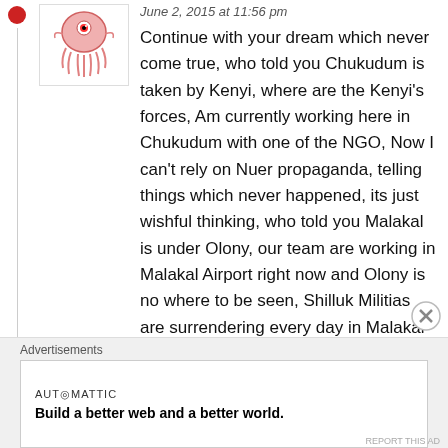[Figure (illustration): Avatar image: pink cartoon jellyfish/octopus creature on white background]
June 2, 2015 at 11:56 pm
Continue with your dream which never come true, who told you Chukudum is taken by Kenyi, where are the Kenyi's forces, Am currently working here in Chukudum with one of the NGO, Now I can't rely on Nuer propaganda, telling things which never happened, its just wishful thinking, who told you Malakal is under Olony, our team are working in Malakal Airport right now and Olony is no where to be seen, Shilluk Militias are surrendering every day in Malakal
Advertisements
AUTOMATTIC
Build a better web and a better world.